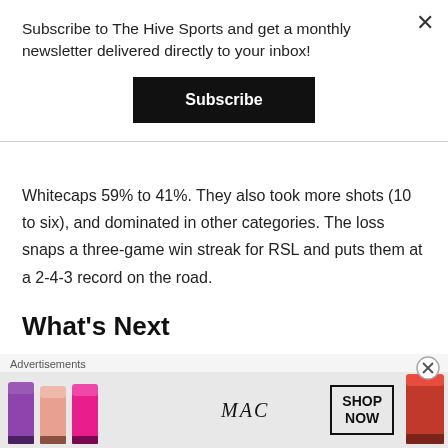Subscribe to The Hive Sports and get a monthly newsletter delivered directly to your inbox!
Subscribe
Whitecaps 59% to 41%. They also took more shots (10 to six), and dominated in other categories. The loss snaps a three-game win streak for RSL and puts them at a 2-4-3 record on the road.
What's Next
RSL will now return home to Rio Tinto Stadium in Sandy, Utah to take on the San Jose Quakes on
Advertisements
[Figure (photo): MAC cosmetics advertisement banner showing lipsticks in purple, peach, pink, and red colors with MAC logo and SHOP NOW box]